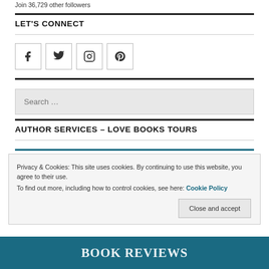Join 36,729 other followers
LET'S CONNECT
[Figure (infographic): Four social media icon boxes: Facebook, Twitter, Instagram, Pinterest]
[Figure (other): Search input box with placeholder text 'Search ...']
AUTHOR SERVICES – LOVE BOOKS TOURS
Privacy & Cookies: This site uses cookies. By continuing to use this website, you agree to their use.
To find out more, including how to control cookies, see here: Cookie Policy
Close and accept
[Figure (illustration): Teal banner at bottom with handwritten-style text 'BOOK REVIEWS']